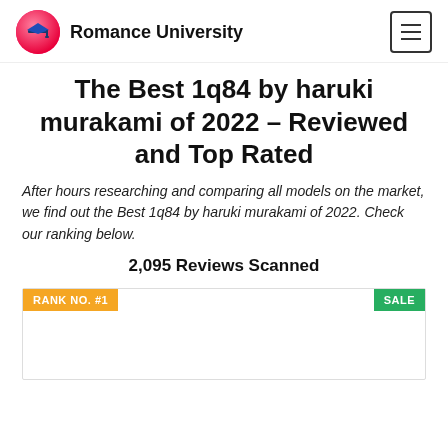Romance University
The Best 1q84 by haruki murakami of 2022 – Reviewed and Top Rated
After hours researching and comparing all models on the market, we find out the Best 1q84 by haruki murakami of 2022. Check our ranking below.
2,095 Reviews Scanned
RANK NO. #1
SALE